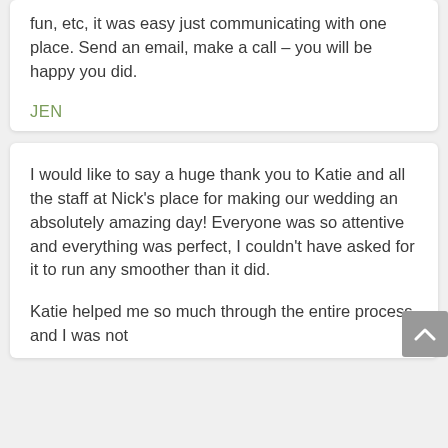fun, etc, it was easy just communicating with one place. Send an email, make a call – you will be happy you did.
JEN
I would like to say a huge thank you to Katie and all the staff at Nick's place for making our wedding an absolutely amazing day! Everyone was so attentive and everything was perfect, I couldn't have asked for it to run any smoother than it did.
Katie helped me so much through the entire process and I was not